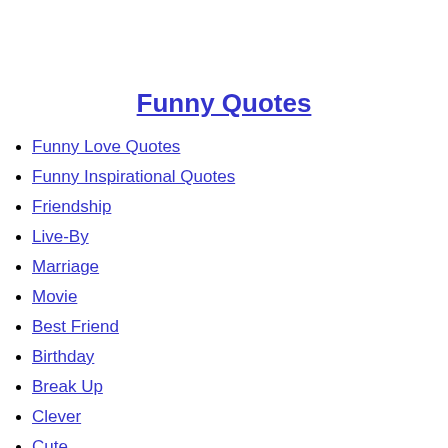Funny Quotes
Funny Love Quotes
Funny Inspirational Quotes
Friendship
Live-By
Marriage
Movie
Best Friend
Birthday
Break Up
Clever
Cute